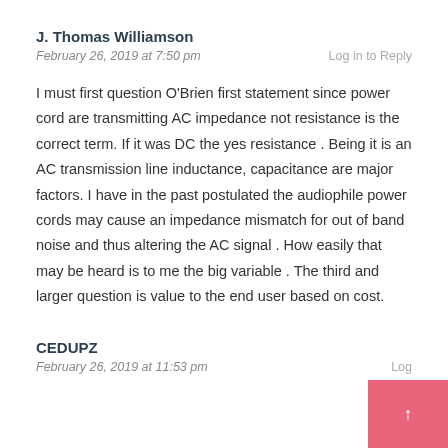J. Thomas Williamson
February 26, 2019 at 7:50 pm
Log in to Reply
I must first question O'Brien first statement since power cord are transmitting AC impedance not resistance is the correct term. If it was DC the yes resistance . Being it is an AC transmission line inductance, capacitance are major factors. I have in the past postulated the audiophile power cords may cause an impedance mismatch for out of band noise and thus altering the AC signal . How easily that may be heard is to me the big variable . The third and larger question is value to the end user based on cost.
CEDUPZ
February 26, 2019 at 11:53 pm
Log